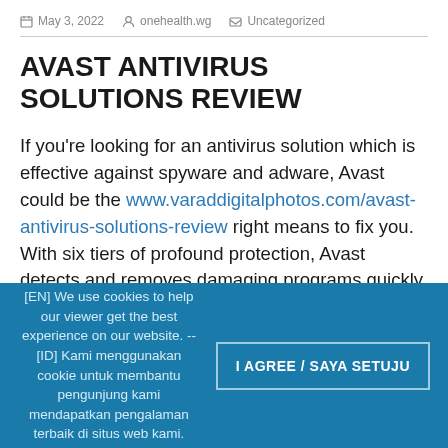May 3, 2022  onehealth.wg  Uncategorized
AVAST ANTIVIRUS SOLUTIONS REVIEW
If you're looking for an antivirus solution which is effective against spyware and adware, Avast could be the www.varaddigitalphotos.com/avast-antivirus-solutions-review right means to fix you. With six tiers of profound protection, Avast detects and removes damaging programs quickly and effortlesly. It combines paid protection features into one convenient method for the two Windows and Mac users. The free and paid
[EN] We use cookies to help our viewer get the best experience on our website. -- [ID] Kami menggunakan cookie untuk membantu pengunjung kami mendapatkan pengalaman terbaik di situs web kami.
I AGREE / SAYA SETUJU